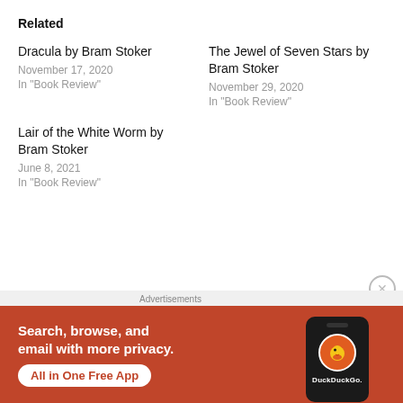Related
Dracula by Bram Stoker
November 17, 2020
In "Book Review"
The Jewel of Seven Stars by Bram Stoker
November 29, 2020
In "Book Review"
Lair of the White Worm by Bram Stoker
June 8, 2021
In "Book Review"
• Caught by the Tides by Diana Whiteside
[Figure (screenshot): DuckDuckGo advertisement banner with text 'Search, browse, and email with more privacy. All in One Free App' on orange background with phone graphic and DuckDuckGo logo]